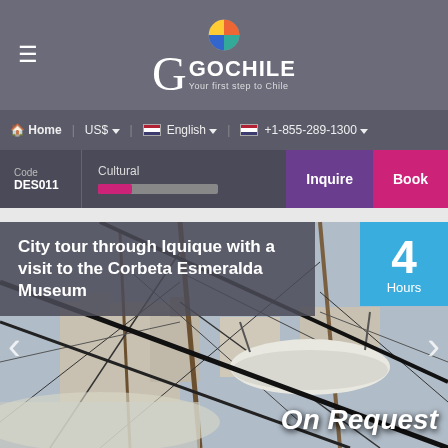GoChile — Your first step to Chile
Home | US$ | English | +1-855-289-1300
Code DES011 | Cultural | Inquire | Book
City tour through Iquique with a visit to the Corbeta Esmeralda Museum
4 Hours
On Request